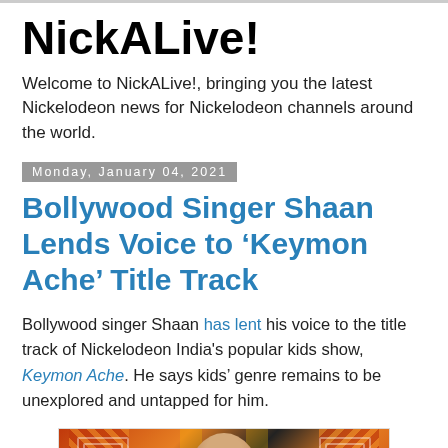NickALive!
Welcome to NickALive!, bringing you the latest Nickelodeon news for Nickelodeon channels around the world.
Monday, January 04, 2021
Bollywood Singer Shaan Lends Voice to ‘Keymon Ache’ Title Track
Bollywood singer Shaan has lent his voice to the title track of Nickelodeon India's popular kids show, Keymon Ache. He says kids’ genre remains to be unexplored and untapped for him.
[Figure (photo): Photo of Bollywood singer Shaan on a colorful stage background with orange and red diagonal stripes and geometric frames]